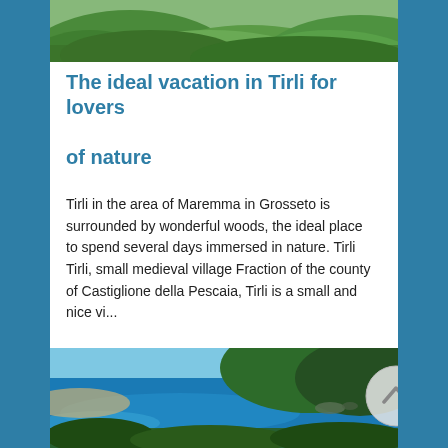[Figure (photo): Green hills and woodland landscape viewed from above]
The ideal vacation in Tirli for lovers of nature
Tirli in the area of Maremma in Grosseto is surrounded by wonderful woods, the ideal place to spend several days immersed in nature. Tirli Tirli, small medieval village Fraction of the county of Castiglione della Pescaia, Tirli is a small and nice vi...
[Figure (photo): Scenic coastal view with blue sea, rocky headland covered with Mediterranean vegetation, and sandy beach]